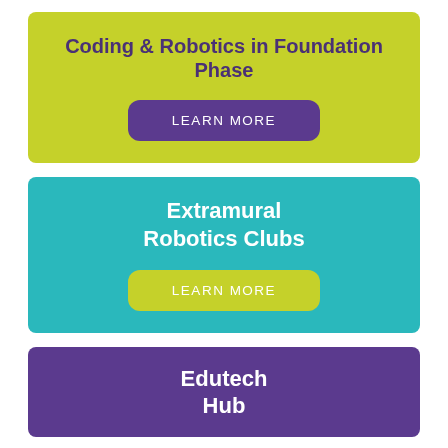Coding & Robotics in Foundation Phase
LEARN MORE
Extramural Robotics Clubs
LEARN MORE
Edutech Hub